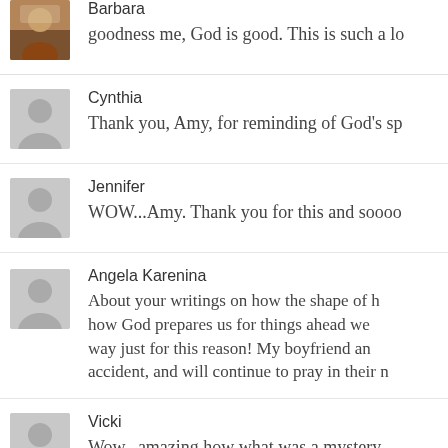[Figure (screenshot): Social media comment section showing comments from Barbara, Cynthia, Jennifer, Angela Karenina, and Vicki with user avatars and partial comment text]
Barbara
goodness me, God is good. This is such a lo
Cynthia
Thank you, Amy, for reminding of God's sp
Jennifer
WOW...Amy. Thank you for this and soooo
Angela Karenina
About your writings on how the shape of h how God prepares us for things ahead we way just for this reason! My boyfriend an accident, and will continue to pray in their n
Vicki
Wow...amazing how what was a mystery